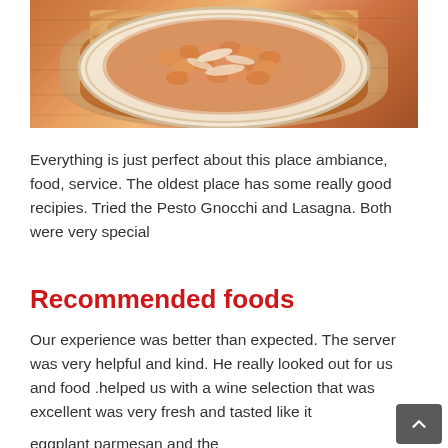[Figure (photo): A plate of gnocchi in orange/tomato cream sauce, topped with shaved parmesan, served on a white plate on a wooden table]
Everything is just perfect about this place ambiance, food, service. The oldest place has some really good recipies. Tried the Pesto Gnocchi and Lasagna. Both were very special
Recommended foods
Our experience was better than expected. The server was very helpful and kind. He really looked out for us and food .helped us with a wine selection that was excellent was very fresh and tasted like it
eggplant parmesan and the chicken parmesan were